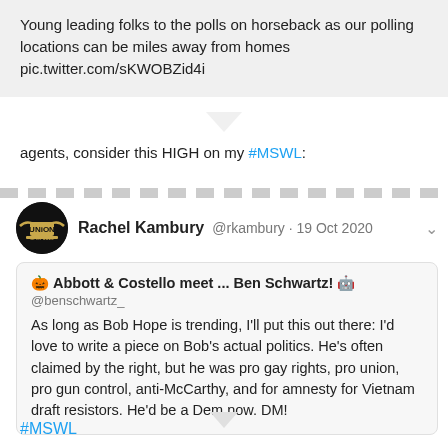Young leading folks to the polls on horseback as our polling locations can be miles away from homes pic.twitter.com/sKWOBZid4i
agents, consider this HIGH on my #MSWL:
Rachel Kambury @rkambury · 19 Oct 2020
🎃 Abbott & Costello meet ... Ben Schwartz! 🤖 @benschwartz_
As long as Bob Hope is trending, I'll put this out there: I'd love to write a piece on Bob's actual politics. He's often claimed by the right, but he was pro gay rights, pro union, pro gun control, anti-McCarthy, and for amnesty for Vietnam draft resistors. He'd be a Dem now. DM!
#MSWL